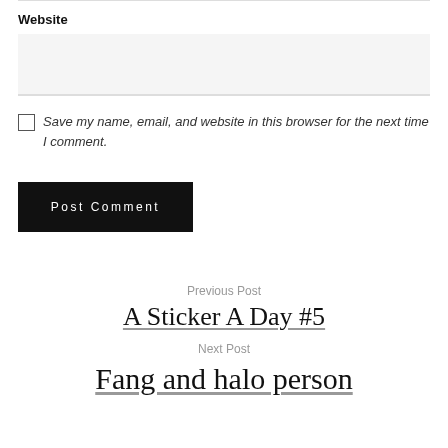Website
Save my name, email, and website in this browser for the next time I comment.
Post Comment
Previous Post
A Sticker A Day #5
Next Post
Fang and halo person